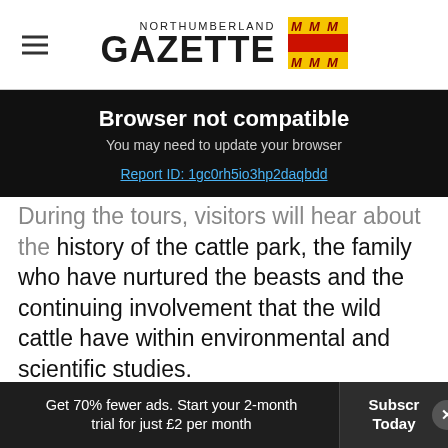NORTHUMBERLAND GAZETTE
Browser not compatible
You may need to update your browser
Report ID: 1gc0rh5io3hp2daqbdd
During the tours, visitors will hear about the history of the cattle park, the family who have nurtured the beasts and the continuing involvement that the wild cattle have within environmental and scientific studies.
The Chillingham Wild White Cattle are unique and internationally renowned. Living in their
Get 70% fewer ads. Start your 2-month trial for just £2 per month